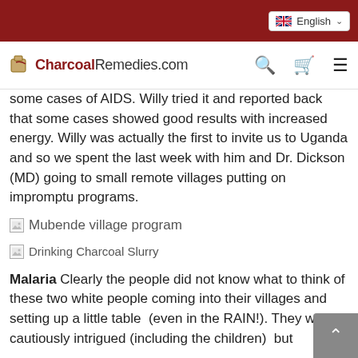English
[Figure (logo): CharcoalRemedies.com logo with navigation icons (search, cart, menu)]
some cases of AIDS. Willy tried it and reported back that some cases showed good results with increased energy. Willy was actually the first to invite us to Uganda and so we spent the last week with him and Dr. Dickson (MD) going to small remote villages putting on impromptu programs.
[Figure (photo): Mubende village program]
[Figure (photo): Drinking Charcoal Slurry]
Malaria Clearly the people did not know what to think of these two white people coming into their villages and setting up a little table (even in the RAIN!). They were cautiously intrigued (including the children) but